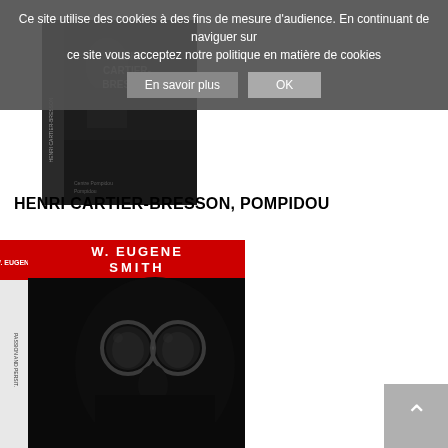Ce site utilise des cookies à des fins de mesure d'audience. En continuant de naviguer sur ce site vous acceptez notre politique en matière de cookies
[Figure (photo): Book cover of Henri Cartier-Bresson Pompidou, showing a dark photographic book with the author name in white text on black background]
HENRI CARTIER-BRESSON, POMPIDOU
[Figure (photo): Book/boxset cover of W. Eugene Smith, showing a black and white close-up face wearing round glasses, with red and white spine text]
[Figure (other): Back to top button with upward arrow]